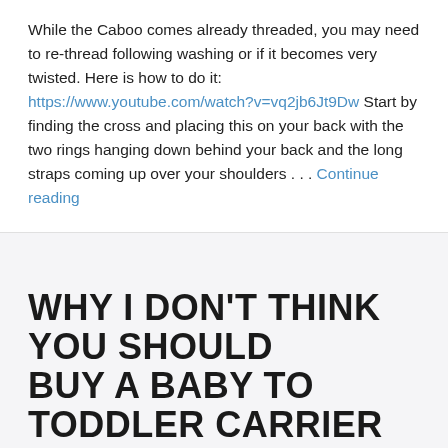While the Caboo comes already threaded, you may need to re-thread following washing or if it becomes very twisted. Here is how to do it: https://www.youtube.com/watch?v=vq2jb6Jt9Dw Start by finding the cross and placing this on your back with the two rings hanging down behind your back and the long straps coming up over your shoulders . . . Continue reading
WHY I DON'T THINK YOU SHOULD BUY A BABY TO TODDLER CARRIER
Thank you for visiting. You can now buy me a coffee!